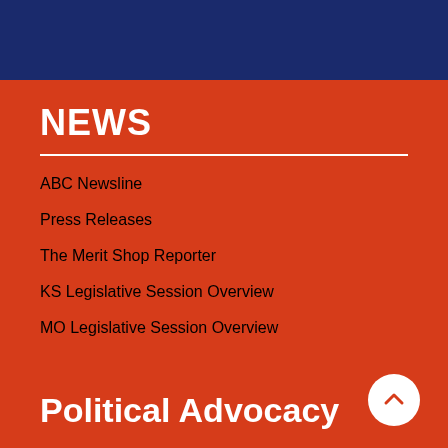[Figure (other): Dark navy blue banner at top of page]
NEWS
ABC Newsline
Press Releases
The Merit Shop Reporter
KS Legislative Session Overview
MO Legislative Session Overview
Political Advocacy